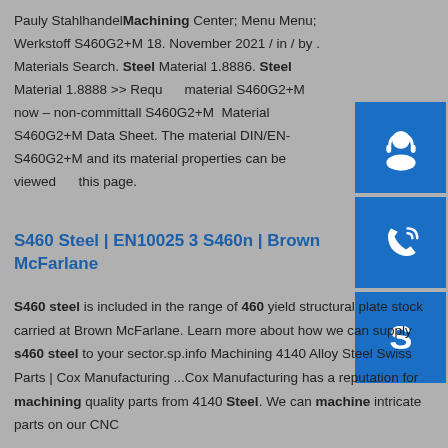Pauly Stahlhandel Machining Center; Menu Menu; Werkstoff S460G2+M 18. November 2021 / in / by . Materials Search. Steel Material 1.8886. Steel Material 1.8888 >> Request material S460G2+M now – non-committal! S460G2+M Material S460G2+M Data Sheet. The material DIN/EN- S460G2+M and its material properties can be viewed on this page.
[Figure (illustration): Three blue buttons with white icons: customer support/headset, phone/call, and Skype icons stacked vertically on the right side]
S460 Steel | EN10025 3 S460n | Brown McFarlane
S460 steel is included in the range of 460 yield structural plate stock carried at Brown McFarlane. Learn more about how we can supply s460 steel to your sector.sp.info Machining 4140 Alloy Steel Swiss Parts | Cox Manufacturing ...Cox Manufacturing has a reputation for machining quality parts from 4140 Steel. We can machine intricate parts on our CNC